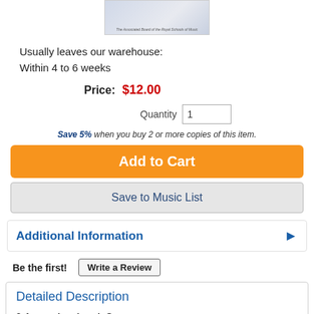[Figure (photo): Book cover image thumbnail, partial view at top of page]
Usually leaves our warehouse:
Within 4 to 6 weeks
Price: $12.00
Quantity 1
Save 5% when you buy 2 or more copies of this item.
Add to Cart
Save to Music List
Additional Information
Be the first!
Write a Review
Detailed Description
2-4 recorder - Level: Copper
Composed by Various. ABRSM Publications. ABRSM Music Medals. Score. 20 pages. ABRSM (Associated Board of the Royal Schools of Music)